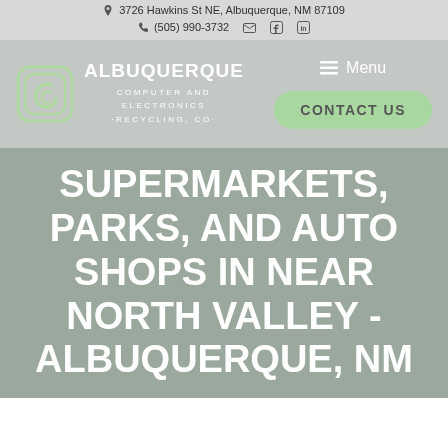3726 Hawkins St NE, Albuquerque, NM 87109
(505) 990-3732
[Figure (logo): Albuquerque Computer and Electronics Recycling Co. logo with stylized C icon and text]
Menu
CONTACT US
SUPERMARKETS, PARKS, AND AUTO SHOPS IN NEAR NORTH VALLEY - ALBUQUERQUE, NM